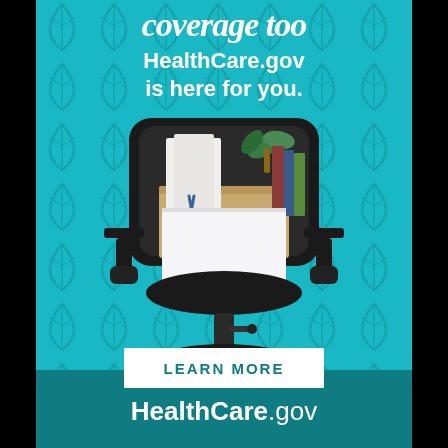coverage too
HealthCare.gov is here for you.
[Figure (photo): An office chair with a cardboard box of personal belongings (books, plant, scissors, papers) sitting on the seat, suggesting someone has been laid off or is leaving a job, set against a teal leafy-patterned background.]
LEARN MORE
HealthCare.gov